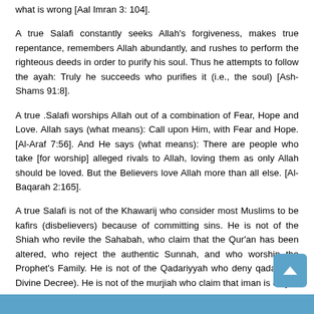what is wrong [Aal Imran 3: 104].
A true Salafi constantly seeks Allah's forgiveness, makes true repentance, remembers Allah abundantly, and rushes to perform the righteous deeds in order to purify his soul. Thus he attempts to follow the ayah: Truly he succeeds who purifies it (i.e., the soul) [Ash-Shams 91:8].
A true .Salafi worships Allah out of a combination of Fear, Hope and Love. Allah says (what means): Call upon Him, with Fear and Hope. [Al-Araf 7:56]. And He says (what means): There are people who take [for worship] alleged rivals to Allah, loving them as only Allah should be loved. But the Believers love Allah more than all else. [Al-Baqarah 2:165].
A true Salafi is not of the Khawarij who consider most Muslims to be kafirs (disbelievers) because of committing sins. He is not of the Shiah who revile the Sahabah, who claim that the Qur'an has been altered, who reject the authentic Sunnah, and who worship the Prophet's Family. He is not of the Qadariyyah who deny qadar (the Divine Decree). He is not of the murjiah who claim that iman is only